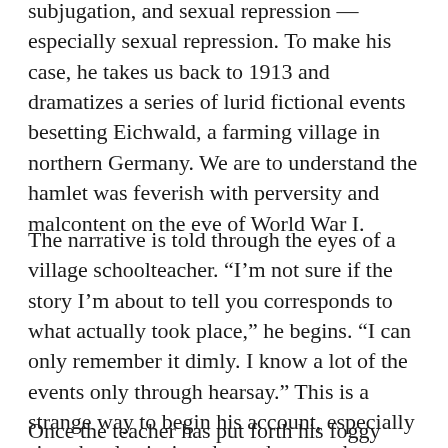subjugation, and sexual repression — especially sexual repression. To make his case, he takes us back to 1913 and dramatizes a series of lurid fictional events besetting Eichwald, a farming village in northern Germany. We are to understand the hamlet was feverish with perversity and malcontent on the eve of World War I.
The narrative is told through the eyes of a village schoolteacher. “I’m not sure if the story I’m about to tell you corresponds to what actually took place,” he begins. “I can only remember it dimly. I know a lot of the events only through hearsay.” This is a strange way to begin his account, especially since he also insists that, whatever the events were, they unquestionably contributed to Germany’s self-destructive course in the years following—a flight of deductive reasoning worthy of the schoolmaster’s supremely speculative countryman, Georg Hegel.
Once the teacher has put forth his foggy claim, we’re